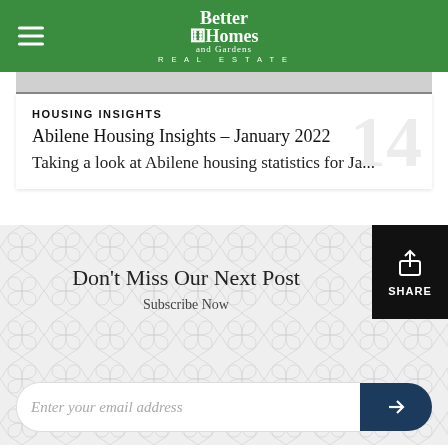[Figure (logo): Better Homes and Gardens Real Estate logo in white on green header bar]
HOUSING INSIGHTS
Abilene Housing Insights – January 2022
Taking a look at Abilene housing statistics for Ja...
Don't Miss Our Next Post
Subscribe Now
Enter your email address